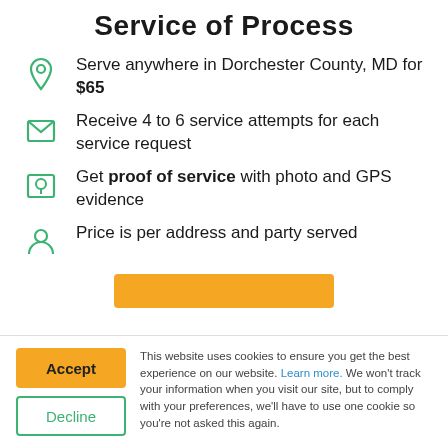Service of Process
Serve anywhere in Dorchester County, MD for $65
Receive 4 to 6 service attempts for each service request
Get proof of service with photo and GPS evidence
Price is per address and party served
This website uses cookies to ensure you get the best experience on our website. Learn more. We won't track your information when you visit our site, but to comply with your preferences, we'll have to use one cookie so you're not asked this again.